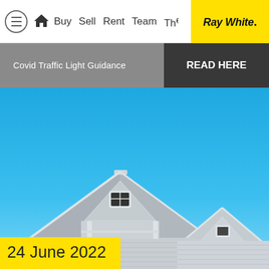Buy Sell Rent Team The | Ray White.
Covid Traffic Light Guidance
READ HERE
[Figure (photo): Two gabled rooftops of a light grey weatherboard house against a bright blue sky, photographed from below at an angle.]
24 June 2022